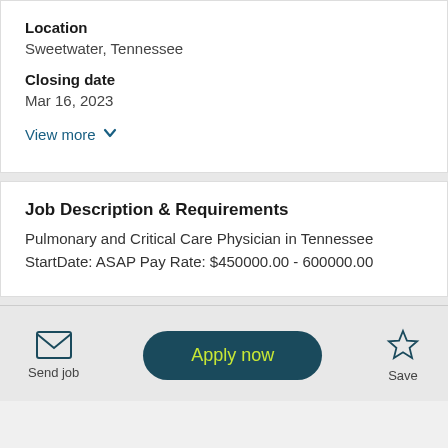Location
Sweetwater, Tennessee
Closing date
Mar 16, 2023
View more
Job Description & Requirements
Pulmonary and Critical Care Physician in Tennessee
StartDate: ASAP Pay Rate: $450000.00 - 600000.00
Send job
Apply now
Save